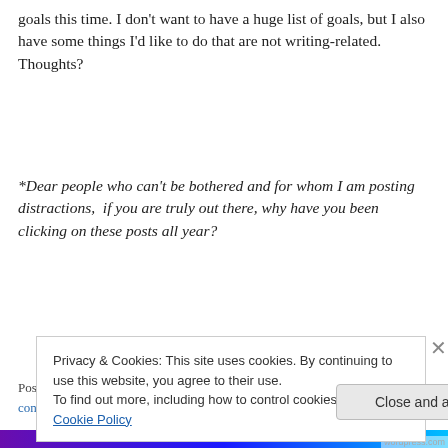goals this time. I don't want to have a huge list of goals, but I also have some things I'd like to do that are not writing-related. Thoughts?
*Dear people who can't be bothered and for whom I am posting distractions,  if you are truly out there, why have you been clicking on these posts all year?
Posted in Writing. | Tagged anxiety, books, concrete goals, conflicts, faith, goals, literature, New Years resolutions, Reading Rainbow, religion, resolutions, Writing. | 4 Comments
Privacy & Cookies: This site uses cookies. By continuing to use this website, you agree to their use.
To find out more, including how to control cookies, see here: Cookie Policy
Close and accept